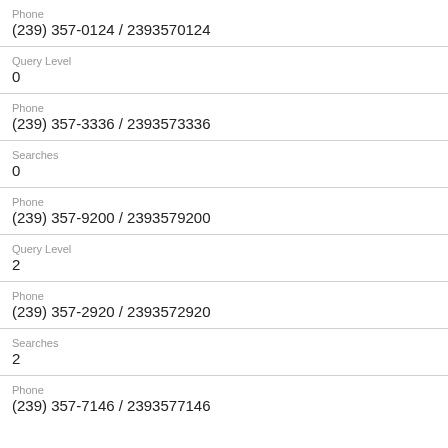Phone
(239) 357-0124 / 2393570124
Query Level
0
Phone
(239) 357-3336 / 2393573336
Searches
0
Phone
(239) 357-9200 / 2393579200
Query Level
2
Phone
(239) 357-2920 / 2393572920
Searches
2
Phone
(239) 357-7146 / 2393577146